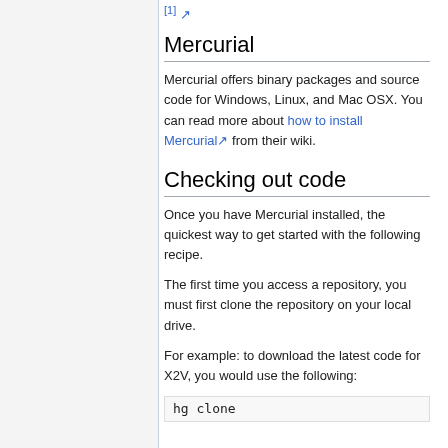[1] (external link)
Mercurial
Mercurial offers binary packages and source code for Windows, Linux, and Mac OSX. You can read more about how to install Mercurial from their wiki.
Checking out code
Once you have Mercurial installed, the quickest way to get started with the following recipe.
The first time you access a repository, you must first clone the repository on your local drive.
For example: to download the latest code for X2V, you would use the following:
hg clone